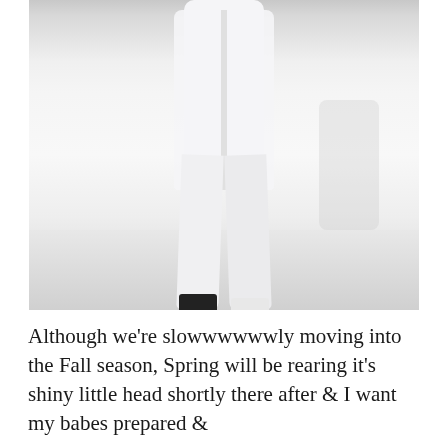[Figure (photo): Fashion runway photo of a model walking in an all-white outfit consisting of wide-leg trousers, a long button-down cardigan/shirt, and a black beaded necklace. The model wears dark sandals. The runway floor is light grey/white. Background is light and minimal.]
Although we're slowwwwwwly moving into the Fall season, Spring will be rearing it's shiny little head shortly there after & I want my babes prepared &